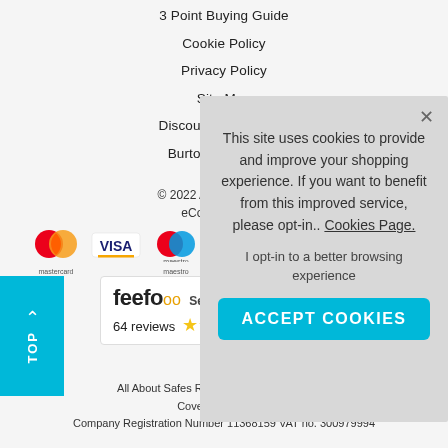3 Point Buying Guide
Cookie Policy
Privacy Policy
Site Map
Discount Codes Ter...
Burton Safes Ca...
© 2022 All About Safes... eCommerce b...
[Figure (logo): Mastercard payment logo - two overlapping circles red and orange]
[Figure (logo): VISA payment logo - blue text with yellow underline]
[Figure (logo): Maestro payment logo - overlapping red and blue circles]
[Figure (logo): Feefo service rating widget showing 64 reviews with star rating]
All About Safes Registered office Unit 3, A... Coventry, CV6 6PA
Company Registration Number 11368159 VAT no. 300979994
This site uses cookies to provide and improve your shopping experience. If you want to benefit from this improved service, please opt-in.. Cookies Page.
I opt-in to a better browsing experience
ACCEPT COOKIES